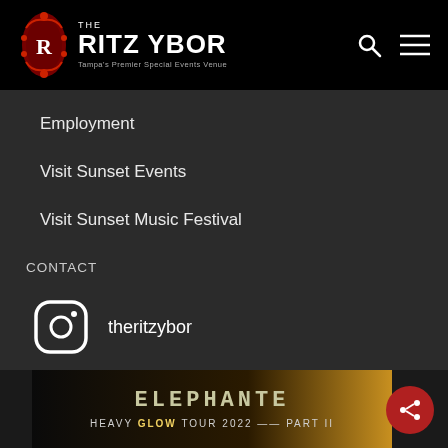[Figure (logo): The Ritz Ybor logo — red ornate emblem with R, beside text THE RITZ YBOR / Tampa's Premier Special Events Venue]
[Figure (infographic): Search icon (magnifying glass) and hamburger menu icon in white on black header bar]
Employment
Visit Sunset Events
Visit Sunset Music Festival
CONTACT
[Figure (logo): Instagram icon (rounded square with circle) followed by handle text: theritzybor]
[Figure (photo): ELEPHANTE HEAVY GLOW TOUR 2022 — PART II concert banner with teal light streak and golden/dark background]
[Figure (other): Red circular share button with share/network icon]